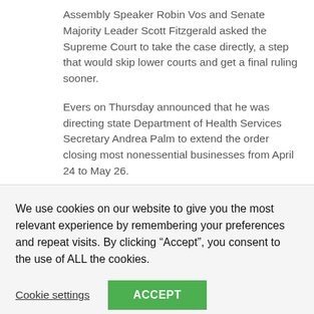Assembly Speaker Robin Vos and Senate Majority Leader Scott Fitzgerald asked the Supreme Court to take the case directly, a step that would skip lower courts and get a final ruling sooner.
Evers on Thursday announced that he was directing state Department of Health Services Secretary Andrea Palm to extend the order closing most nonessential businesses from April 24 to May 26.
Vos and Fitzgerald said Tuesday that there was “immense frustration” with the extension. They
We use cookies on our website to give you the most relevant experience by remembering your preferences and repeat visits. By clicking “Accept”, you consent to the use of ALL the cookies.